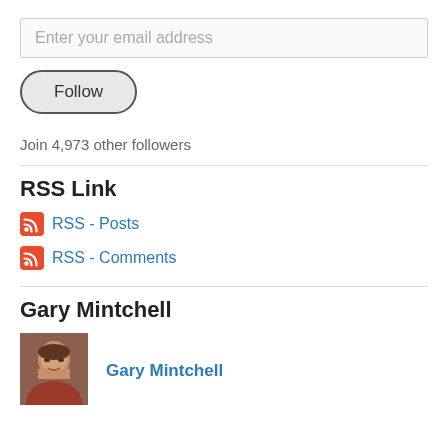Enter your email address
Follow
Join 4,973 other followers
RSS Link
RSS - Posts
RSS - Comments
Gary Mintchell
[Figure (photo): Profile photo of Gary Mintchell]
Gary Mintchell